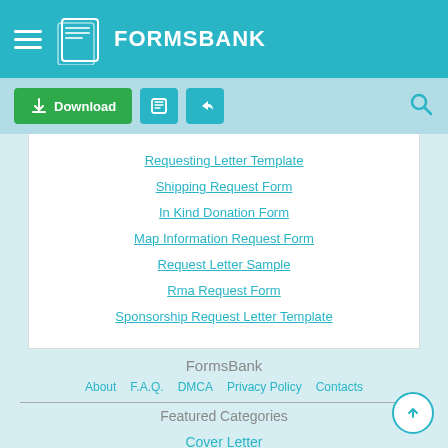FORMSBANK
Requesting Letter Template
Shipping Request Form
In Kind Donation Form
Map Information Request Form
Request Letter Sample
Rma Request Form
Sponsorship Request Letter Template
FormsBank
About   F.A.Q.   DMCA   Privacy Policy   Contacts
Featured Categories
Cover Letter
Resume Templates
Cover Letter Examples
Irs Forms